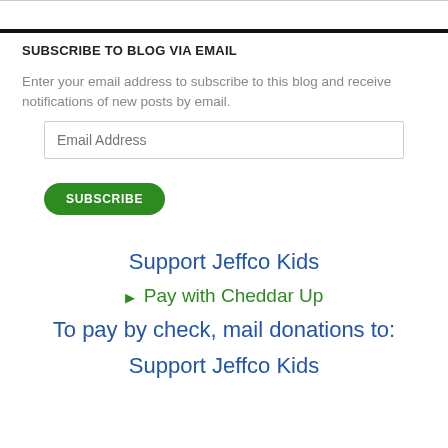SUBSCRIBE TO BLOG VIA EMAIL
Enter your email address to subscribe to this blog and receive notifications of new posts by email.
Email Address
SUBSCRIBE
Support Jeffco Kids
Pay with Cheddar Up
To pay by check, mail donations to:
Support Jeffco Kids